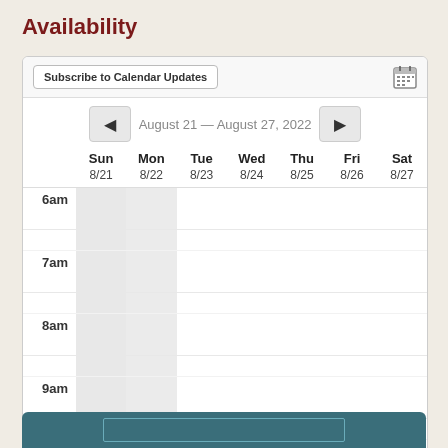Availability
|  | Sun 8/21 | Mon 8/22 | Tue 8/23 | Wed 8/24 | Thu 8/25 | Fri 8/26 | Sat 8/27 |
| --- | --- | --- | --- | --- | --- | --- | --- |
| 6am |  |  |  |  |  |  |  |
| 7am |  |  |  |  |  |  |  |
| 8am |  |  |  |  |  |  |  |
| 9am |  |  |  |  |  |  |  |
| 10am |  |  |  |  |  |  |  |
| 11am |  |  |  |  |  |  |  |